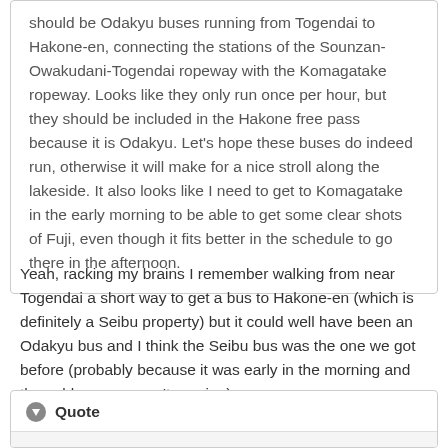should be Odakyu buses running from Togendai to Hakone-en, connecting the stations of the Sounzan-Owakudani-Togendai ropeway with the Komagatake ropeway. Looks like they only run once per hour, but they should be included in the Hakone free pass because it is Odakyu. Let's hope these buses do indeed run, otherwise it will make for a nice stroll along the lakeside. It also looks like I need to get to Komagatake in the early morning to be able to get some clear shots of Fuji, even though it fits better in the schedule to go there in the afternoon.
Yeah, racking my brains I remember walking from near Togendai a short way to get a bus to Hakone-en (which is definitely a Seibu property) but it could well have been an Odakyu bus and I think the Seibu bus was the one we got before (probably because it was early in the morning and the cable cars weren't running).
Quote
Do you have any recommended walks for Komagatake?